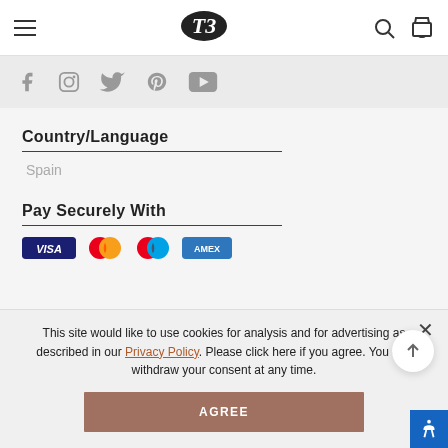T3 logo with hamburger menu, search and bag icons
[Figure (other): Social media icons row: Facebook, Instagram, Twitter, Pinterest, YouTube]
Country/Language
Spain
Pay Securely With
[Figure (other): Payment provider icons: Visa, Mastercard, and others]
This site would like to use cookies for analysis and for advertising as described in our Privacy Policy. Please click here if you agree. You can withdraw your consent at any time.
AGREE